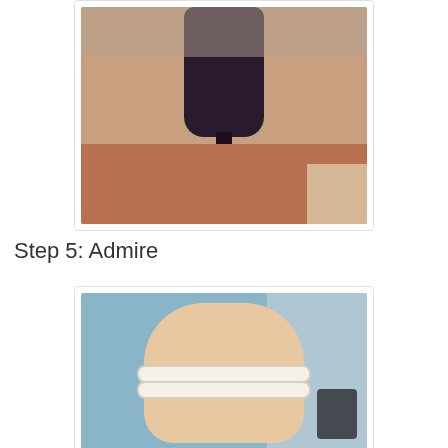[Figure (photo): Close-up photo of a power drill drilling into a cork/wood surface, with white dust/powder around the drill bit]
Step 5: Admire
[Figure (photo): Photo of a hand wearing a white ring made from cork, shown close-up against a blue/grey background]